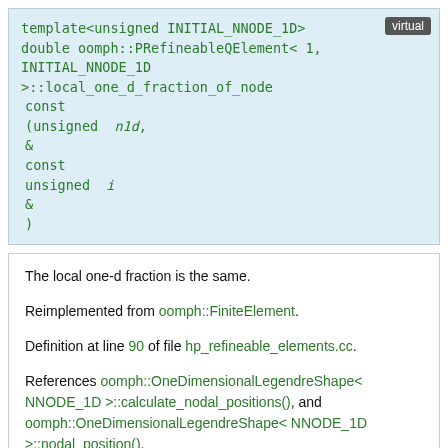template<unsigned INITIAL_NNODE_1D> double oomph::PRefineableQElement< 1, INITIAL_NNODE_1D >::local_one_d_fraction_of_node const (unsigned n1d, & const unsigned i & )
The local one-d fraction is the same.

Reimplemented from oomph::FiniteElement.

Definition at line 90 of file hp_refineable_elements.cc.

References oomph::OneDimensionalLegendreShape< NNODE_1D >::calculate_nodal_positions(), and oomph::OneDimensionalLegendreShape< NNODE_1D >::nodal_position().
nnode_1d()